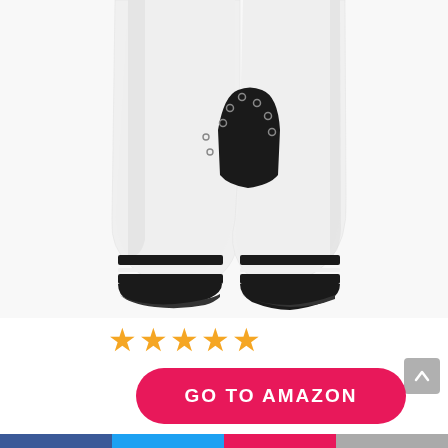[Figure (photo): Close-up product photo of the lower half of a white baby onesie/footed pajama with black trim snap closure at the crotch and black ribbed cuffs at the ankles, shown on a white background.]
[Figure (other): Four and a half orange star rating icons indicating approximately 4 out of 5 stars.]
[Figure (other): A bright pink/red rounded rectangular call-to-action button with white bold uppercase text reading 'GO TO AMAZON'.]
Amazon.com